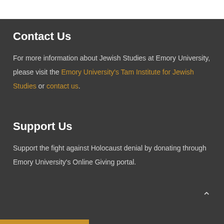Contact Us
For more information about Jewish Studies at Emory University, please visit the Emory University's Tam Institute for Jewish Studies or contact us.
Support Us
Support the fight against Holocaust denial by donating through Emory University's Online Giving portal.